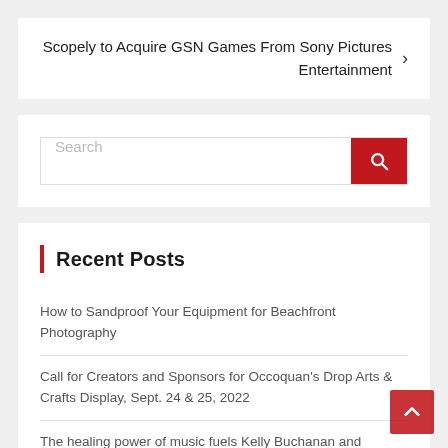Scopely to Acquire GSN Games From Sony Pictures Entertainment
[Figure (screenshot): Search bar with red search button containing magnifying glass icon]
Recent Posts
How to Sandproof Your Equipment for Beachfront Photography
Call for Creators and Sponsors for Occoquan's Drop Arts & Crafts Display, Sept. 24 & 25, 2022
The healing power of music fuels Kelly Buchanan and Dimestore Dolls | Entertainment